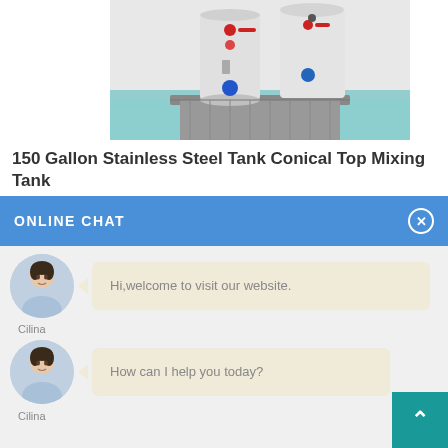[Figure (photo): Photo of two white stainless steel cylindrical tanks with red and blue valve controls, placed on a metal platform in an industrial setting with teal/blue floor]
150 Gallon Stainless Steel Tank Conical Top Mixing Tank
FOB Price: US $ 500-1000 / Piece
Min. Order: 1 Piece
ONLINE CHAT
[Figure (photo): Chat avatar of woman in light blue shirt]
Hi,welcome to visit our website.
Cilina
[Figure (photo): Chat avatar of woman in light blue shirt]
How can I help you today?
Cilina